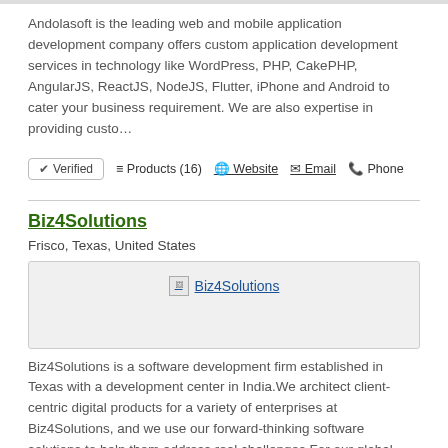Andolasoft is the leading web and mobile application development company offers custom application development services in technology like WordPress, PHP, CakePHP, AngularJS, ReactJS, NodeJS, Flutter, iPhone and Android to cater your business requirement. We are also expertise in providing custo…
✔ Verified   ≡ Products (16)   🌐 Website   ✉ Email   📞 Phone
Biz4Solutions
Frisco, Texas, United States
[Figure (logo): Biz4Solutions company logo placeholder image]
Biz4Solutions is a software development firm established in Texas with a development center in India.We architect client-centric digital products for a variety of enterprises at Biz4Solutions, and we use our forward-thinking software solutions to help them address real challenges.For our global clie…
✔ Verified   ≡ Products (13)   🌐 Website   ✉ Email   📞 Phone